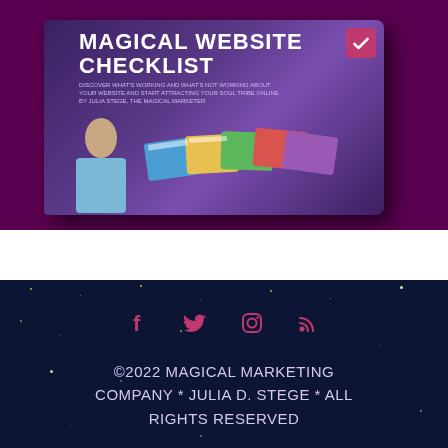[Figure (illustration): 3D book cover for 'Magical Website Checklist' by Julia Stege, The Magical Marketer, shown on a dark purple background with a checklist icon and author/website screenshot images]
[Figure (infographic): Social media icons row: Facebook (f), Twitter (bird), Instagram (camera), RSS feed icons in pink/magenta color on dark navy starry background]
©2022 MAGICAL MARKETING COMPANY * JULIA D. STEGE * ALL RIGHTS RESERVED